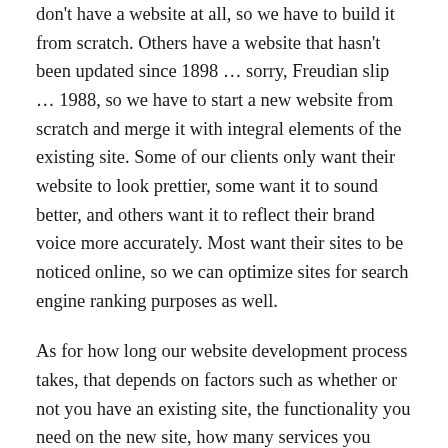don't have a website at all, so we have to build it from scratch. Others have a website that hasn't been updated since 1898 … sorry, Freudian slip … 1988, so we have to start a new website from scratch and merge it with integral elements of the existing site. Some of our clients only want their website to look prettier, some want it to sound better, and others want it to reflect their brand voice more accurately. Most want their sites to be noticed online, so we can optimize sites for search engine ranking purposes as well.
As for how long our website development process takes, that depends on factors such as whether or not you have an existing site, the functionality you need on the new site, how many services you provide, and many other matters.
See? There's a whole lot to talk about before we get started, and even more to talk about as we aim to continue growing your